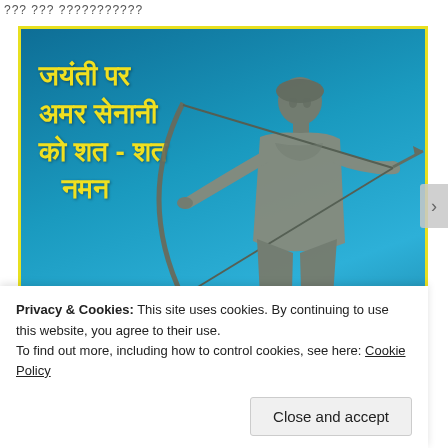??? ??? ???????????
[Figure (photo): A bronze statue of an archer warrior drawing a bow, set against a teal/blue sky background. Hindi text overlay reads: जयंती पर अमर सेनानी को शत - शत नमन (meaning 'Hundredfold salute to the immortal warrior on Jayanti'). The image has a yellow border.]
Privacy & Cookies: This site uses cookies. By continuing to use this website, you agree to their use.
To find out more, including how to control cookies, see here: Cookie Policy
Close and accept